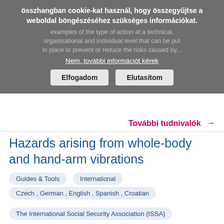összhangban cookie-kat használ, hogy összegyűjtse a weboldal böngészéséhez szükséges információkat. examples of the type of action at a technical, organisational and individual level that can be put in place to prevent or reduce the risks caused by...
Nem, további információt kérek
Elfogadom | Elutasítom
További tudnivalók →
Hazards arising from whole-body and hand-arm vibrations
Guides & Tools
International
Czech , German , English , Spanish , Croatian
The International Social Security Association (ISSA)
Exposure to vibrations may affect human beings in a variety of ways. The harmful effects of vibrating tools or machines have long since been known but are still frequently underestimated. This Guide for